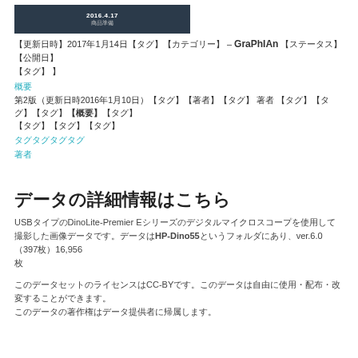2016.4.17
商品準備
【更新日時】2017年1月14日【タグ】【カテゴリー】 – GraPhIAn 【ステータス】【公開日】
概要
第2版（更新日時2016年1月10日）【タグ】【著者】【タグ】 著者 【タグ】【タグ】【タグ】【概要】
タグタグタグタグ
著者
データの詳細情報はこちら
USBタイプのDinoLite-Premier Eシリーズのデジタルマイクロスコープを使用して撮影した画像データです。データはHP-Dino55というフォルダにあり、ver.6.0（397枚）16,956枚
このデータセットのライセンスはCC-BYです。このデータは自由に使用・配布・改変することができます。